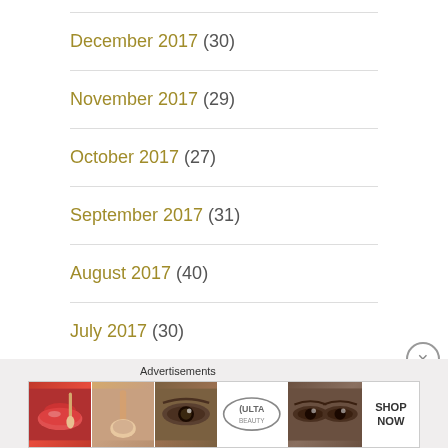December 2017 (30)
November 2017 (29)
October 2017 (27)
September 2017 (31)
August 2017 (40)
July 2017 (30)
Advertisements